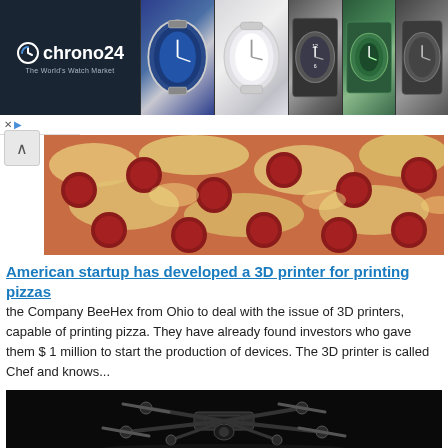[Figure (screenshot): Chrono24 advertisement banner featuring the logo on the left and watch images on the right]
[Figure (photo): Close-up photo of a pepperoni pizza]
American startup has developed a 3D printer for printing pizzas
the Company BeeHex from Ohio to deal with the issue of 3D printers, capable of printing pizza. They have already found investors who gave them $ 1 million to start the production of devices. The 3D printer is called Chef and knows...
[Figure (photo): Dark studio photo of a large professional drone (hexacopter) with six arms and propellers against a black background]